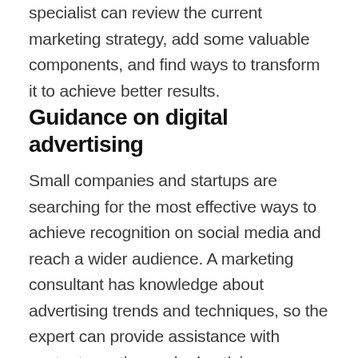specialist can review the current marketing strategy, add some valuable components, and find ways to transform it to achieve better results.
Guidance on digital advertising
Small companies and startups are searching for the most effective ways to achieve recognition on social media and reach a wider audience. A marketing consultant has knowledge about advertising trends and techniques, so the expert can provide assistance with content creation and advertising on Youtube, Instagram, Facebook, or other social media to drive potential buyers.